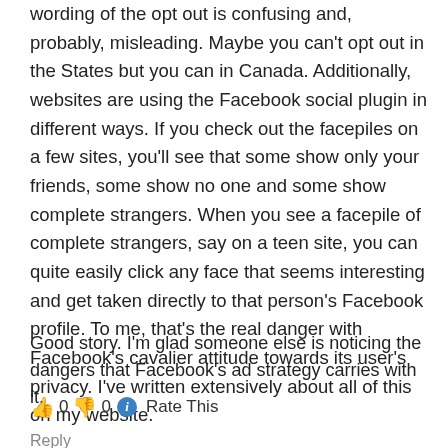wording of the opt out is confusing and, probably, misleading. Maybe you can't opt out in the States but you can in Canada. Additionally, websites are using the Facebook social plugin in different ways. If you check out the facepiles on a few sites, you'll see that some show only your friends, some show no one and some show complete strangers. When you see a facepile of complete strangers, say on a teen site, you can quite easily click any face that seems interesting and get taken directly to that person's Facebook profile. To me, that's the real danger with Facebook's cavalier attitude towards its user's privacy. I've written extensively about all of this on my website.
Good story. I'm glad someone else is noticing the dangers that Facebook's ad strategy carries with it.
👍 0 👎 0 ℹ Rate This
Reply